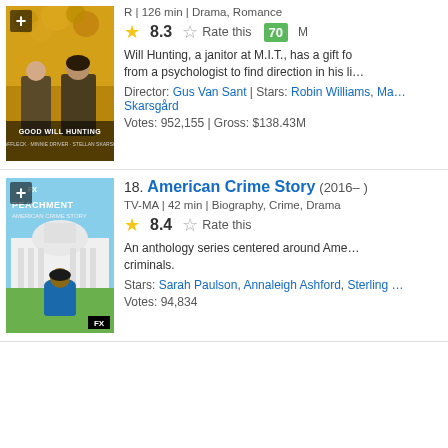[Figure (photo): Good Will Hunting movie poster — two men sitting outdoors with autumn foliage background]
R | 126 min | Drama, Romance
8.3  Rate this  70 M
Will Hunting, a janitor at M.I.T., has a gift fo... from a psychologist to find direction in his li...
Director: Gus Van Sant | Stars: Robin Williams, Ma... Skarsgård
Votes: 952,155 | Gross: $138.43M
[Figure (photo): American Crime Story: Impeachment poster — woman in blue coat facing White House]
18. American Crime Story (2016– )
TV-MA | 42 min | Biography, Crime, Drama
8.4  Rate this
An anthology series centered around Ame... criminals.
Stars: Sarah Paulson, Annaleigh Ashford, Sterling ...
Votes: 94,834